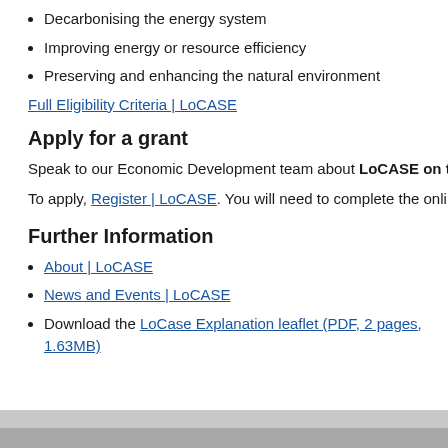Decarbonising the energy system
Improving energy or resource efficiency
Preserving and enhancing the natural environment
Full Eligibility Criteria | LoCASE
Apply for a grant
Speak to our Economic Development team about LoCASE on the Isle of
To apply, Register | LoCASE. You will need to complete the online SME E
Further Information
About | LoCASE
News and Events | LoCASE
Download the LoCase Explanation leaflet (PDF, 2 pages, 1.63MB)